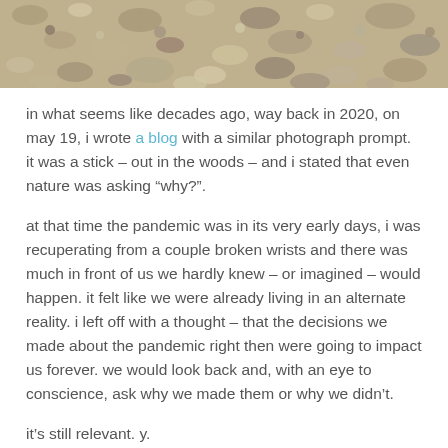[Figure (photo): Close-up photograph of gravel/sandy ground with small stones and pebbles, cropped at the top of the page.]
in what seems like decades ago, way back in 2020, on may 19, i wrote a blog with a similar photograph prompt. it was a stick – out in the woods – and i stated that even nature was asking “why?”.
at that time the pandemic was in its very early days, i was recuperating from a couple broken wrists and there was much in front of us we hardly knew – or imagined – would happen. it felt like we were already living in an alternate reality. i left off with a thought – that the decisions we made about the pandemic right then were going to impact us forever. we would look back and, with an eye to conscience, ask why we made them or why we didn’t.
it’s still relevant. y.